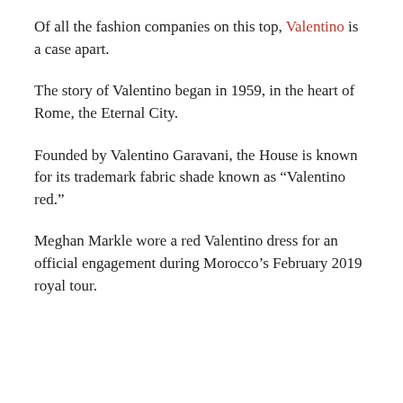Of all the fashion companies on this top, Valentino is a case apart.
The story of Valentino began in 1959, in the heart of Rome, the Eternal City.
Founded by Valentino Garavani, the House is known for its trademark fabric shade known as “Valentino red.”
Meghan Markle wore a red Valentino dress for an official engagement during Morocco’s February 2019 royal tour.